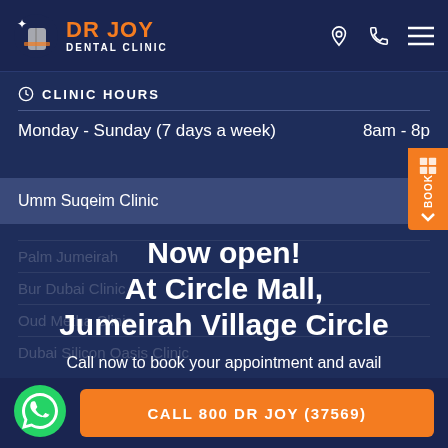[Figure (logo): Dr Joy Dental Clinic logo with tooth icon and orange DR JOY text]
CLINIC HOURS
Monday - Sunday (7 days a week)    8am - 8pm
Umm Suqeim Clinic
Now open! At Circle Mall, Jumeirah Village Circle
Call now to book your appointment and avail our Inaugural offers for a Limited time only !
CALL 800 DR JOY (37569)